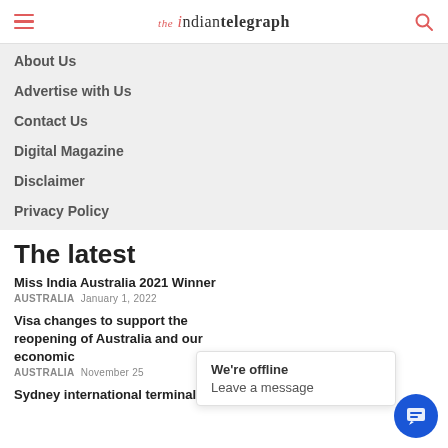the indian telegraph
About Us
Advertise with Us
Contact Us
Digital Magazine
Disclaimer
Privacy Policy
The latest
Miss India Australia 2021 Winner
AUSTRALIA  January 1, 2022
Visa changes to support the reopening of Australia and our economic
AUSTRALIA  November 25
Sydney international terminal bustling once again